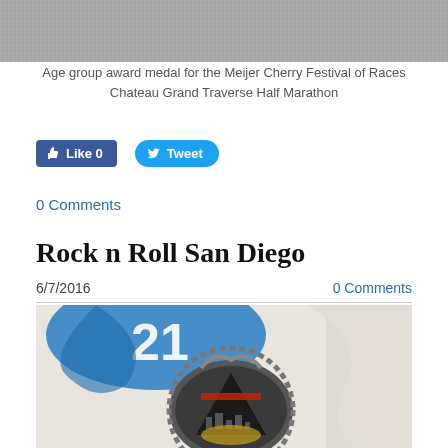[Figure (photo): Top portion of a race medal photo (gray/silver textured background visible)]
Age group award medal for the Meijer Cherry Festival of Races Chateau Grand Traverse Half Marathon
[Figure (infographic): Facebook Like button showing 0 and Twitter Tweet button]
0 Comments
Rock n Roll San Diego
6/7/2016
0 Comments
[Figure (photo): Close-up photo of a Rock n Roll San Diego race medal with blue ribbon and dark metal medallion showing city skyline]